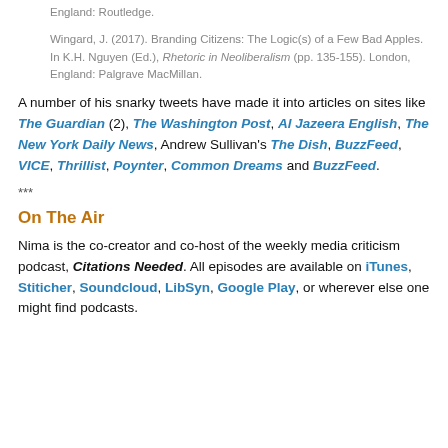England: Routledge.
Wingard, J. (2017). Branding Citizens: The Logic(s) of a Few Bad Apples. In K.H. Nguyen (Ed.), Rhetoric in Neoliberalism (pp. 135-155). London, England: Palgrave MacMillan.
A number of his snarky tweets have made it into articles on sites like The Guardian (2), The Washington Post, Al Jazeera English, The New York Daily News, Andrew Sullivan's The Dish, BuzzFeed, VICE, Thrillist, Poynter, Common Dreams and BuzzFeed.
***
On The Air
Nima is the co-creator and co-host of the weekly media criticism podcast, Citations Needed. All episodes are available on iTunes, Stiticher, Soundcloud, LibSyn, Google Play, or wherever else one might find podcasts.